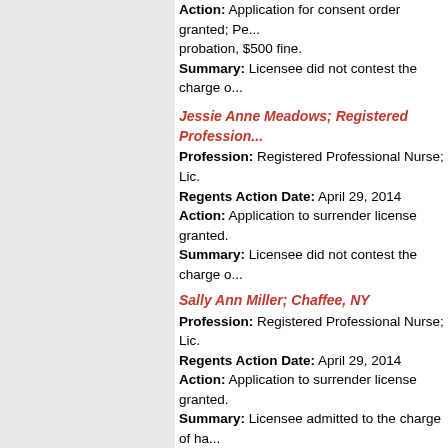Action: Application for consent order granted; Pe... probation, $500 fine. Summary: Licensee did not contest the charge o...
Jessie Anne Meadows; Registered Profession... Profession: Registered Professional Nurse; Lic. ... Regents Action Date: April 29, 2014 Action: Application to surrender license granted. Summary: Licensee did not contest the charge o...
Sally Ann Miller; Chaffee, NY Profession: Registered Professional Nurse; Lic. ... Regents Action Date: April 29, 2014 Action: Application to surrender license granted. Summary: Licensee admitted to the charge of ha... hydrocodone tablets from her employment.
Celia Muriel Goodridge Neblett; Brooklyn, NY Profession: Licensed Practical Nurse; Lic. No. 24... Regents Action Date: April 29, 2014 Action: Application for consent order granted; Pe... stayed suspension, 2 years probation to commen... Summary: Licensee admits to the charge of willfu...
Cheryl Ann Oliphant; Santa Monica, CA Profession: Registered Professional Nurse; Lic. ... Regents Action Date: April 29, 2014 Action: Application for consent order granted; R...